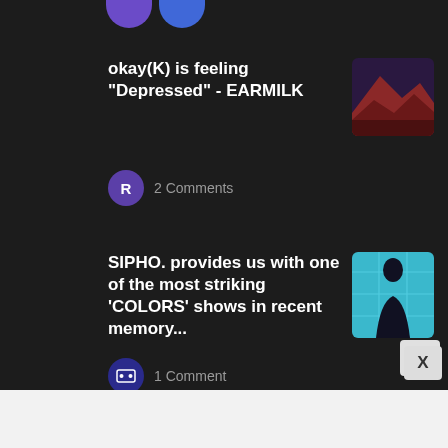[Figure (screenshot): Dark-themed social/news feed showing three article items with thumbnails and comment counts. Top shows partial avatars. Background is dark #1e1e1e.]
okay(K) is feeling "Depressed" - EARMILK
2 Comments
SIPHO. provides us with one of the most striking 'COLORS' shows in recent memory...
1 Comment
Ello. C and Timba stray from "Crowded Places" - EARMILK
1 Comment